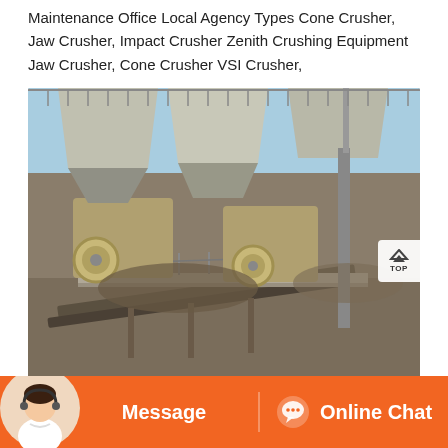Maintenance Office Local Agency Types Cone Crusher, Jaw Crusher, Impact Crusher Zenith Crushing Equipment Jaw Crusher, Cone Crusher VSI Crusher,
[Figure (photo): Aerial/elevated view of an industrial crushing plant facility showing large jaw crushers, conveyor systems, steel structures, hoppers, and aggregate piles under a clear blue sky.]
Message  |  Online Chat